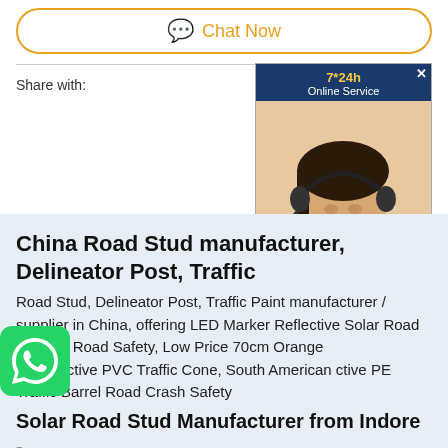Chat Now
Share with:
[Figure (photo): Online chat service advertisement with woman wearing headset. Shows '7*24h Online Service' header and 'Chat Now!' button.]
China Road Stud manufacturer, Delineator Post, Traffic
Road Stud, Delineator Post, Traffic Paint manufacturer / supplier in China, offering LED Marker Reflective Solar Road Stud for Road Safety, Low Price 70cm Orange le Reflective PVC Traffic Cone, South American ctive PE Traffic Barrel Road Crash Safety
Solar Road Stud Manufacturer from Indore -